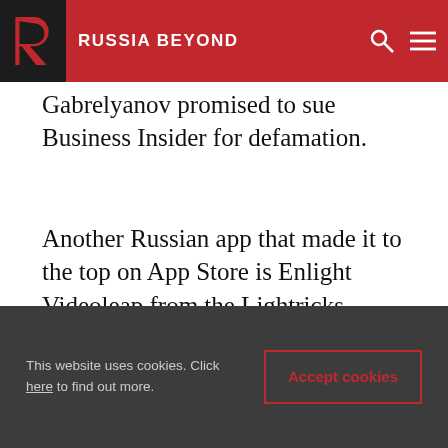RUSSIA BEYOND
Gabrelyanov promised to sue Business Insider for defamation.
Another Russian app that made it to the top on App Store is Enlight Videoleap from the Lightricks company, which was released only three months ago.
[Figure (photo): Blurred/redacted image strip with reddish background]
This website uses cookies. Click here to find out more.
Accept cookies